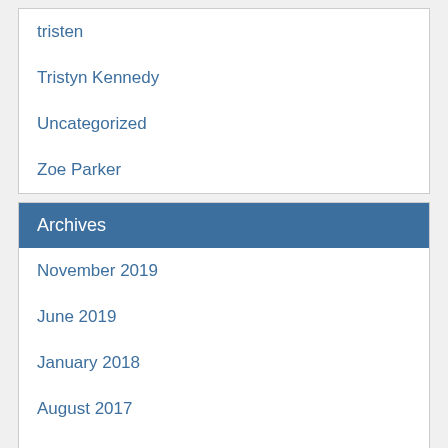tristen
Tristyn Kennedy
Uncategorized
Zoe Parker
Archives
November 2019
June 2019
January 2018
August 2017
May 2017
November 2016